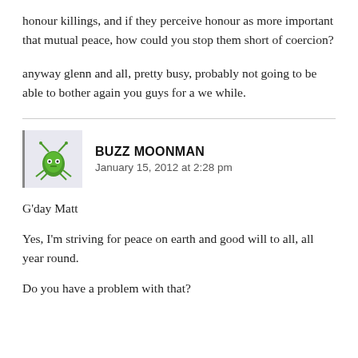honour killings, and if they perceive honour as more important that mutual peace, how could you stop them short of coercion?
anyway glenn and all, pretty busy, probably not going to be able to bother again you guys for a we while.
BUZZ MOONMAN
January 15, 2012 at 2:28 pm
G'day Matt
Yes, I'm striving for peace on earth and good will to all, all year round.
Do you have a problem with that?